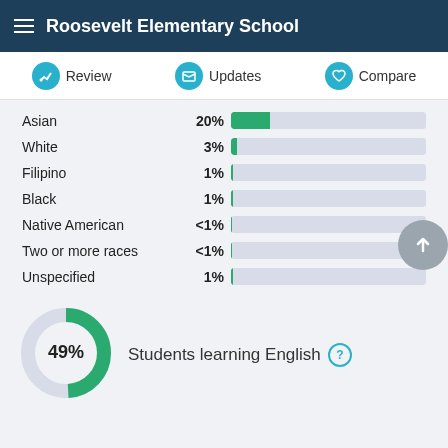Roosevelt Elementary School
Review | Updates | Compare
[Figure (bar-chart): Student demographics by race/ethnicity]
[Figure (donut-chart): Students learning English]
Students learning English